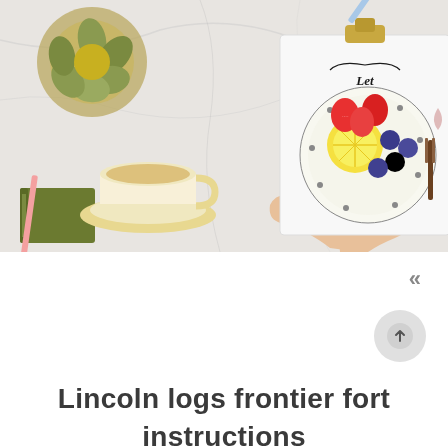[Figure (photo): Overhead flatlay photo of a marble surface with hands holding a hand-lettered sign reading 'Let your Dream be bigger than your Fears', surrounded by a teacup with golden saucer, a green book, a succulent plant, pencils, a polka-dot plate with strawberries, lemon slices and blueberries, and gold accessories.]
Lincoln logs frontier fort instructions